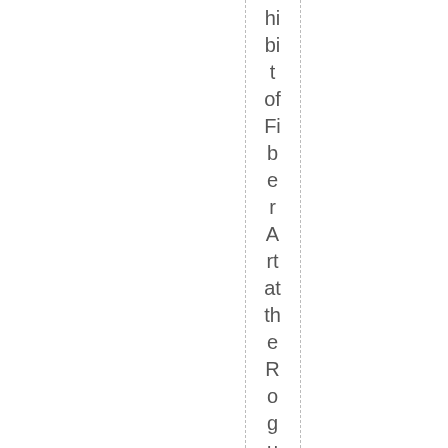hibit of Fiber Art at the Rogue Gallery & Art